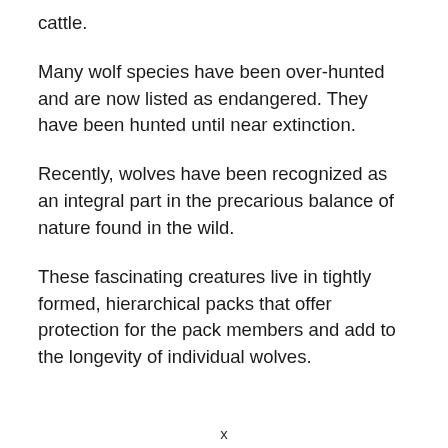cattle.
Many wolf species have been over-hunted and are now listed as endangered. They have been hunted until near extinction.
Recently, wolves have been recognized as an integral part in the precarious balance of nature found in the wild.
These fascinating creatures live in tightly formed, hierarchical packs that offer protection for the pack members and add to the longevity of individual wolves.
x